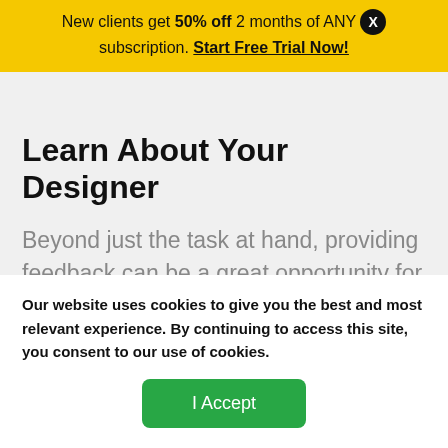New clients get 50% off 2 months of ANY subscription. Start Free Trial Now!
Learn About Your Designer
Beyond just the task at hand, providing feedback can be a great opportunity for you and your designer to prepare for future projects. Your designer's strengths and weaknesses are often times things that are learned only as you work together. But asking...
Our website uses cookies to give you the best and most relevant experience. By continuing to access this site, you consent to our use of cookies.
I Accept